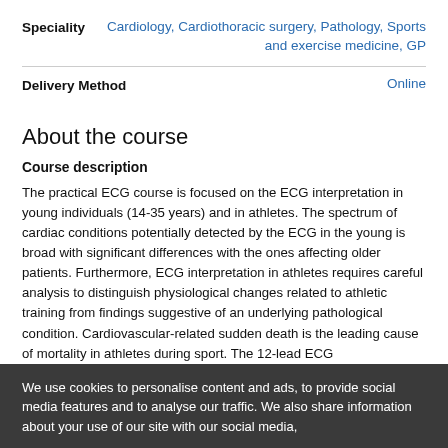| Field | Value |
| --- | --- |
| Speciality | Cardiology, Cardiothoracic surgery, Pathology, Sports and exercise medicine, GP |
| Delivery Method | Online |
About the course
Course description
The practical ECG course is focused on the ECG interpretation in young individuals (14-35 years) and in athletes. The spectrum of cardiac conditions potentially detected by the ECG in the young is broad with significant differences with the ones affecting older patients. Furthermore, ECG interpretation in athletes requires careful analysis to distinguish physiological changes related to athletic training from findings suggestive of an underlying pathological condition. Cardiovascular-related sudden death is the leading cause of mortality in athletes during sport. The 12-lead ECG
We use cookies to personalise content and ads, to provide social media features and to analyse our traffic. We also share information about your use of our site with our social media,